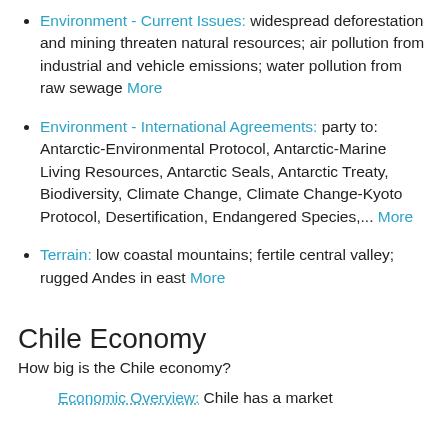Environment - Current Issues: widespread deforestation and mining threaten natural resources; air pollution from industrial and vehicle emissions; water pollution from raw sewage More
Environment - International Agreements: party to: Antarctic-Environmental Protocol, Antarctic-Marine Living Resources, Antarctic Seals, Antarctic Treaty, Biodiversity, Climate Change, Climate Change-Kyoto Protocol, Desertification, Endangered Species,... More
Terrain: low coastal mountains; fertile central valley; rugged Andes in east More
Chile Economy
How big is the Chile economy?
Economic Overview: Chile has a market...